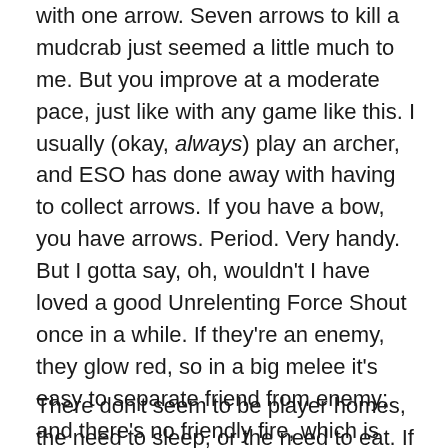with one arrow. Seven arrows to kill a mudcrab just seemed a little much to me. But you improve at a moderate pace, just like with any game like this. I usually (okay, always) play an archer, and ESO has done away with having to collect arrows. If you have a bow, you have arrows. Period. Very handy. But I gotta say, oh, wouldn't I have loved a good Unrelenting Force Shout once in a while. If they're an enemy, they glow red, so in a big melee it's easy to separate friend from enemy; and there's no friendly fire, which is good, because companions still love to run into the line of fire. Corpses you can loot glow, too.
There don't seem to be player homes, the need to sleep, or the need to eat. If you have stuff you want to keep, you put it in the bank. I believe the bank is accessible to different characters, meaning that if you find something in one game you want another of your characters to have,